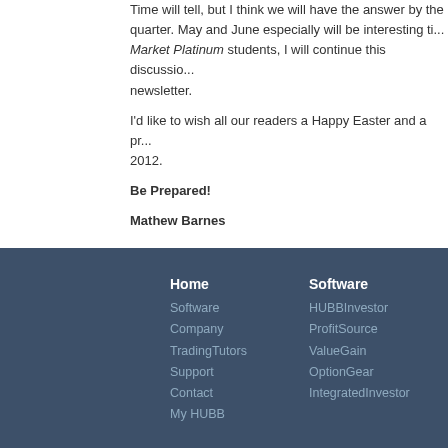Time will tell, but I think we will have the answer by the quarter. May and June especially will be interesting ti... Market Platinum students, I will continue this discussio... newsletter.
I'd like to wish all our readers a Happy Easter and a pr... 2012.
Be Prepared!
Mathew Barnes
Home | Software | Company | TradingTutors | Support | Contact | My HUBB | Software | HUBBInvestor | ProfitSource | ValueGain | OptionGear | IntegratedInvestor